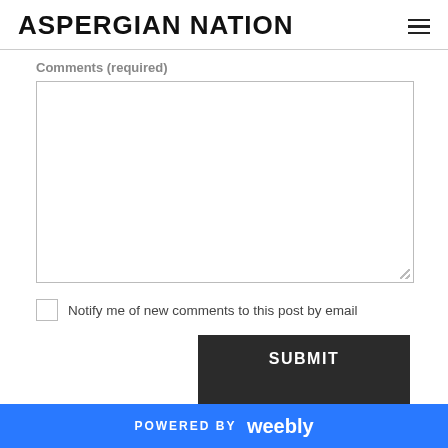ASPERGIAN NATION
Comments (required)
[Figure (screenshot): Empty comment text area with resize handle]
Notify me of new comments to this post by email
SUBMIT
POWERED BY weebly